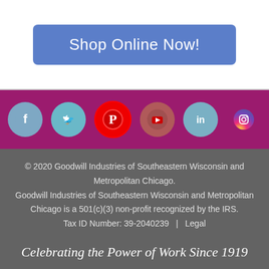Shop Online Now!
[Figure (infographic): Six social media icons (Facebook, Twitter, Pinterest, YouTube, LinkedIn, Instagram) on a magenta/purple bar background]
© 2020 Goodwill Industries of Southeastern Wisconsin and Metropolitan Chicago.
Goodwill Industries of Southeastern Wisconsin and Metropolitan Chicago is a 501(c)(3) non-profit recognized by the IRS.
Tax ID Number: 39-2040239    |    Legal
Celebrating the Power of Work Since 1919